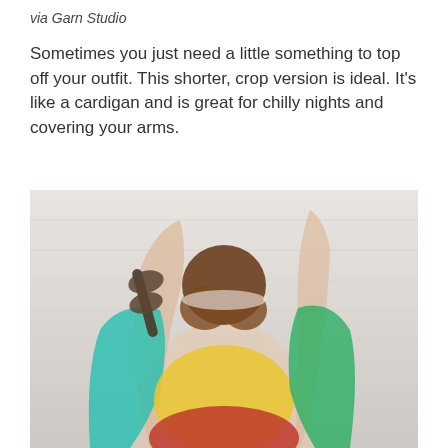via Garn Studio
Sometimes you just need a little something to top off your outfit. This shorter, crop version is ideal. It's like a cardigan and is great for chilly nights and covering your arms.
[Figure (photo): Woman seen from behind wearing a colorful crochet vest in teal, yellow, and red, with her arm raised holding sunglasses, hair in a bun with a headband, against a white plank wall background.]